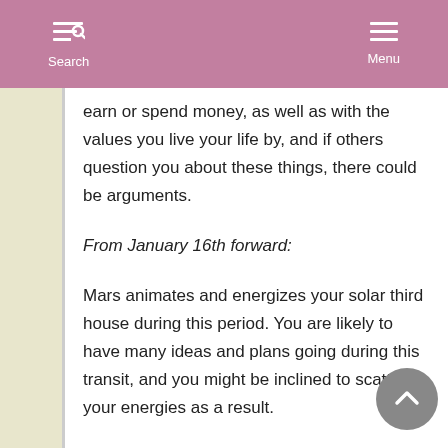Search   Menu
earn or spend money, as well as with the values you live your life by, and if others question you about these things, there could be arguments.
From January 16th forward:
Mars animates and energizes your solar third house during this period. You are likely to have many ideas and plans going during this transit, and you might be inclined to scatter your energies as a result.